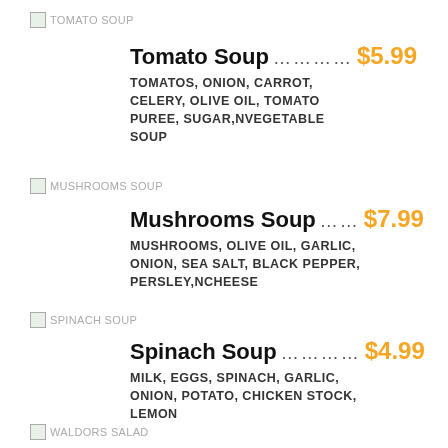[Figure (illustration): Tomato Soup image placeholder with label]
Tomato Soup ........... $5.99
TOMATOS, ONION, CARROT, CELERY, OLIVE OIL, TOMATO PUREE, SUGAR,NVEGETABLE SOUP
[Figure (illustration): Mushrooms Soup image placeholder with label]
Mushrooms Soup ...... $7.99
MUSHROOMS, OLIVE OIL, GARLIC, ONION, SEA SALT, BLACK PEPPER, PERSLEY,NCHEESE
[Figure (illustration): Spinach Soup image placeholder with label]
Spinach Soup ........... $4.99
MILK, EGGS, SPINACH, GARLIC, ONION, POTATO, CHICKEN STOCK, LEMON
[Figure (illustration): Waldors Salad image placeholder with label]